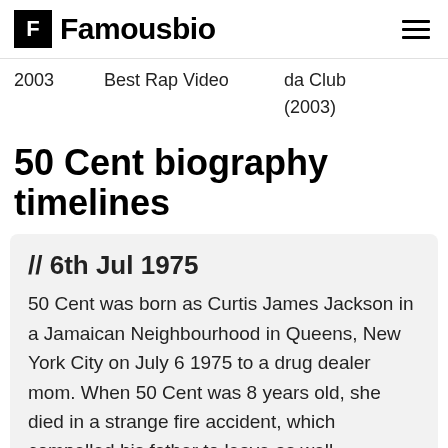Famousbio
| Year | Award | Detail |
| --- | --- | --- |
| 2003 | Best Rap Video | da Club (2003) |
50 Cent biography timelines
// 6th Jul 1975
50 Cent was born as Curtis James Jackson in a Jamaican Neighbourhood in Queens, New York City on July 6 1975 to a drug dealer mom. When 50 Cent was 8 years old, she died in a strange fire accident, which compelled his father to leave as well